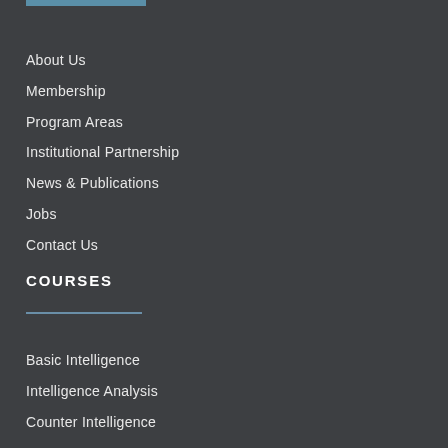About Us
Membership
Program Areas
Institutional Partnership
News & Publications
Jobs
Contact Us
COURSES
Basic Intelligence
Intelligence Analysis
Counter Intelligence